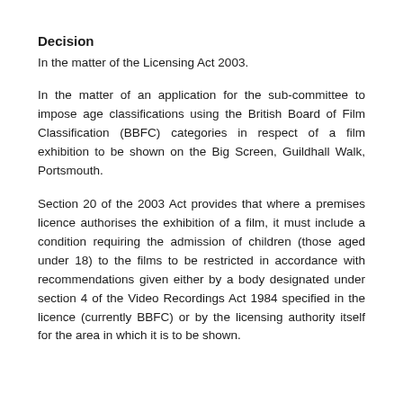Decision
In the matter of the Licensing Act 2003.
In the matter of an application for the sub-committee to impose age classifications using the British Board of Film Classification (BBFC) categories in respect of a film exhibition to be shown on the Big Screen, Guildhall Walk, Portsmouth.
Section 20 of the 2003 Act provides that where a premises licence authorises the exhibition of a film, it must include a condition requiring the admission of children (those aged under 18) to the films to be restricted in accordance with recommendations given either by a body designated under section 4 of the Video Recordings Act 1984 specified in the licence (currently BBFC) or by the licensing authority itself for the area in which it is to be shown.